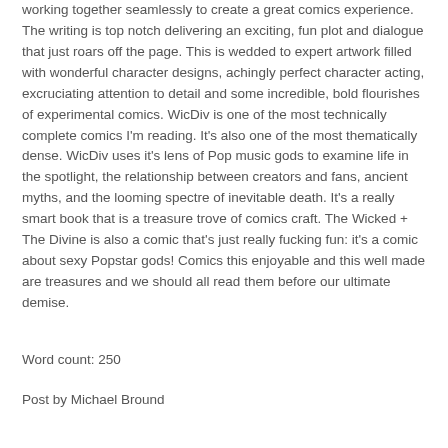working together seamlessly to create a great comics experience. The writing is top notch delivering an exciting, fun plot and dialogue that just roars off the page. This is wedded to expert artwork filled with wonderful character designs, achingly perfect character acting, excruciating attention to detail and some incredible, bold flourishes of experimental comics. WicDiv is one of the most technically complete comics I'm reading. It's also one of the most thematically dense. WicDiv uses it's lens of Pop music gods to examine life in the spotlight, the relationship between creators and fans, ancient myths, and the looming spectre of inevitable death. It's a really smart book that is a treasure trove of comics craft. The Wicked + The Divine is also a comic that's just really fucking fun: it's a comic about sexy Popstar gods! Comics this enjoyable and this well made are treasures and we should all read them before our ultimate demise.
Word count: 250
Post by Michael Bround